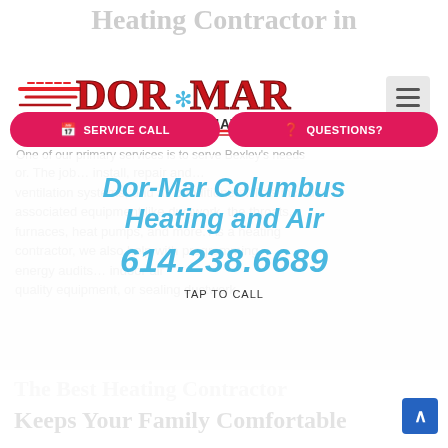Heating Contractor in
[Figure (logo): Dor-Mar Your Climate Hero logo with speed lines, snowflake, and red/blue branding]
One of our primary services is to serve Bexley's needs
SERVICE CALL
QUESTIONS?
or. The job ... install, repair and ... ventilation systems, and air conditioners. This includes associated equipment like ductwork, the, throats, furnaces, heat pumps, and more. As a heating contractor, we also help with programming energy audits ... indoor air quality equipment, or sealing ductwork.
Dor-Mar Columbus Heating and Air
614.238.6689
TAP TO CALL
The Best Heating Contractor
Keeps Your Family Comfortable
If your heating equipment breaks, or is in need of any type of maintenance, repair, or replacement, a heating contractor is the right professional to reach